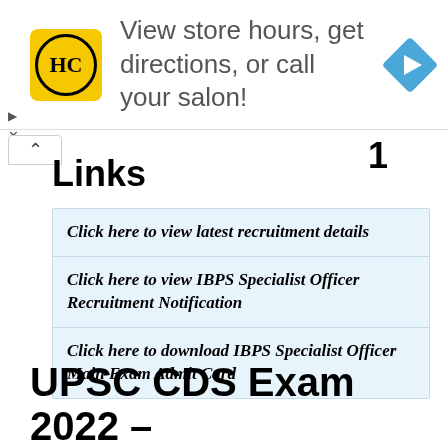[Figure (illustration): Advertisement banner with HC hair salon logo (yellow circle with HC letters), text 'View store hours, get directions, or call your salon!', and a blue navigation/directions diamond icon on the right. Small play and X controls on the left side.]
Links
| Click here to view latest recruitment details |
| Click here to view IBPS Specialist Officer Recruitment Notification |
| Click here to download IBPS Specialist Officer Main Exam Admit Card |
UPSC CDS Exam 2022 –